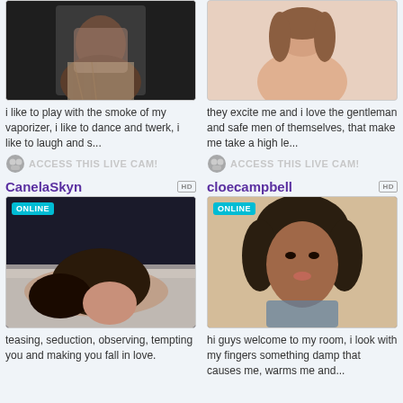[Figure (photo): Woman in patterned dress, dark background]
i like to play with the smoke of my vaporizer, i like to dance and twerk, i like to laugh and s...
[Figure (photo): ACCESS THIS LIVE CAM! button with icon]
[Figure (photo): Woman with light skin and brown hair, light background]
they excite me and i love the gentleman and safe men of themselves, that make me take a high le...
[Figure (photo): ACCESS THIS LIVE CAM! button with icon]
CanelaSkyn
[Figure (photo): Woman lying down, dark hair, dark top, ONLINE badge]
teasing, seduction, observing, tempting you and making you fall in love.
cloecampbell
[Figure (photo): Woman with curly dark hair, close-up portrait, ONLINE badge]
hi guys welcome to my room, i look with my fingers something damp that causes me, warms me and...